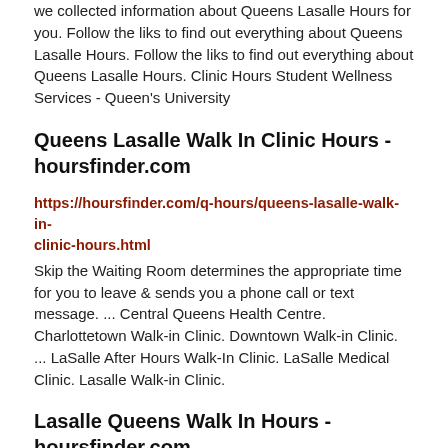we collected information about Queens Lasalle Hours for you. Follow the liks to find out everything about Queens Lasalle Hours. Follow the liks to find out everything about Queens Lasalle Hours. Clinic Hours Student Wellness Services - Queen's University
Queens Lasalle Walk In Clinic Hours - hoursfinder.com
https://hoursfinder.com/q-hours/queens-lasalle-walk-in-clinic-hours.html
Skip the Waiting Room determines the appropriate time for you to leave & sends you a phone call or text message. ... Central Queens Health Centre. Charlottetown Walk-in Clinic. Downtown Walk-in Clinic. ... LaSalle After Hours Walk-In Clinic. LaSalle Medical Clinic. Lasalle Walk-in Clinic.
Lasalle Queens Walk In Hours - hoursfinder.com
https://hoursfinder.com/l-hours/lasalle-queens-walk-in-